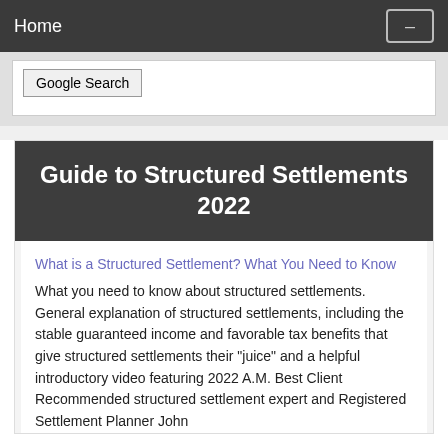Home
[Figure (screenshot): Google Search button inside a search widget box]
Guide to Structured Settlements 2022
What is a Structured Settlement? What You Need to Know
What you need to know about structured settlements. General explanation of structured settlements, including the stable guaranteed income and favorable tax benefits that give structured settlements their "juice" and a helpful introductory video featuring 2022 A.M. Best Client Recommended structured settlement expert and Registered Settlement Planner John